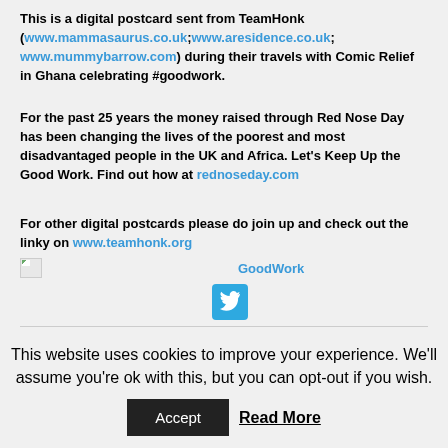This is a digital postcard sent from TeamHonk (www.mammasaurus.co.uk;www.aresidence.co.uk; www.mummybarrow.com) during their travels with Comic Relief in Ghana celebrating #goodwork.
For the past 25 years the money raised through Red Nose Day has been changing the lives of the poorest and most disadvantaged people in the UK and Africa. Let's Keep Up the Good Work. Find out how at rednoseday.com
For other digital postcards please do join up and check out the linky on www.teamhonk.org
[Figure (other): Broken image placeholder icon (small) alongside GoodWork text and Twitter button icon]
This website uses cookies to improve your experience. We'll assume you're ok with this, but you can opt-out if you wish.
Accept | Read More